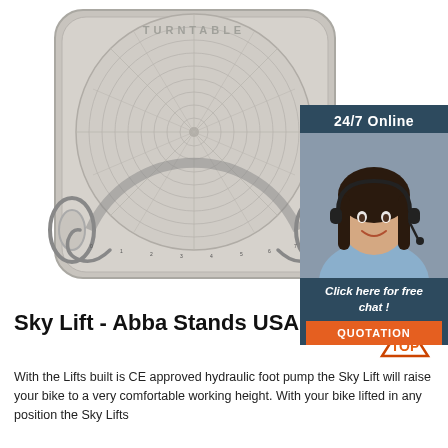[Figure (photo): A circular turntable product (bike lift turntable) shown from above on a white background. The device is a grey square-shaped plate with rounded corners and a large circular concentric-ring grid surface in the center, with a degree scale around the bottom edge and two metal spring handles on the left and right sides.]
[Figure (infographic): 24/7 Online chat widget with a photo of a smiling woman with a headset, dark background, text 'Click here for free chat!' and an orange 'QUOTATION' button.]
Sky Lift - Abba Stands USA
[Figure (logo): TOP icon: orange triangle with dots above and 'TOP' text in orange.]
With the Lifts built is CE approved hydraulic foot pump the Sky Lift will raise your bike to a very comfortable working height. With your bike lifted in any position the Sky Lifts